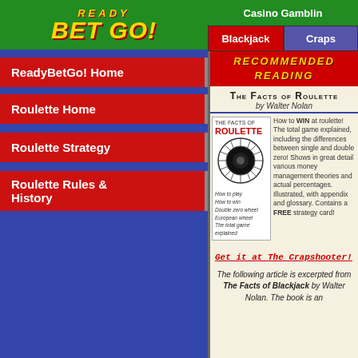READY BET GO! Casino Gamblin
Blackjack | Craps
ReadyBetGo! Home
Roulette Home
Roulette Strategy
Roulette Rules & History
Recommended Reading
The Facts of Roulette by Walter Nolan
[Figure (photo): Book cover of The Facts of Roulette showing a roulette wheel image and text listing: How to play, How to win, Double zero wheel, European wheel, The total game explained]
How to WIN at roulette! The total game explained, including the differences between single and double zero! Shows in great detail various money management theories and actual percentages. Illustrated, with appendix and glossary. Contains a FREE strategy card!
Get it at The Crapshooter!
The following article is excerpted from The Facts of Blackjack by Walter Nolan. The book is an